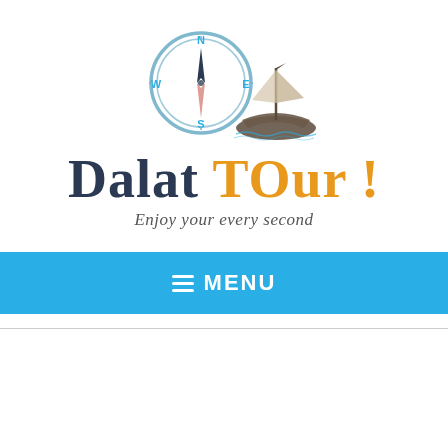[Figure (logo): Dalat TOur! travel company logo featuring a compass rose with N/W/E/S labels, a boat/ship illustration, the brand name 'Dalat TOur!' in dark navy and orange, and tagline 'Enjoy your every second']
≡ MENU